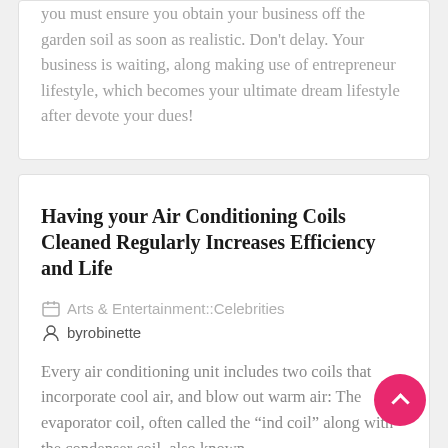you must ensure you obtain your business off the garden soil as soon as realistic. Don't delay. Your business is waiting, along making use of entrepreneur lifestyle, which becomes your ultimate dream lifestyle after devote your dues!
Having your Air Conditioning Coils Cleaned Regularly Increases Efficiency and Life
Arts & Entertainment::Celebrities
byrobinette
Every air conditioning unit includes two coils that incorporate cool air, and blow out warm air: The evaporator coil, often called the "ind coil" along with the condenser coil, also known